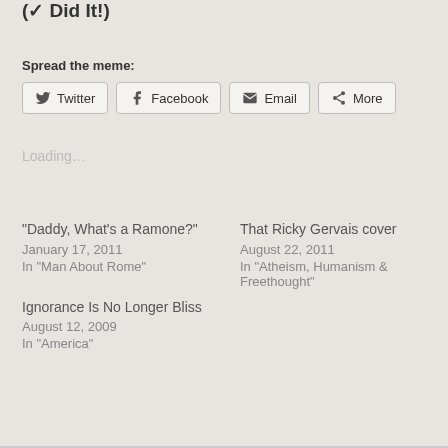(✓ Did It!)
Spread the meme:
Twitter  Facebook  Email  More
Loading...
“Daddy, What’s a Ramone?”
January 17, 2011
In "Man About Rome"
That Ricky Gervais cover
August 22, 2011
In "Atheism, Humanism & Freethought"
Ignorance Is No Longer Bliss
August 12, 2009
In "America"